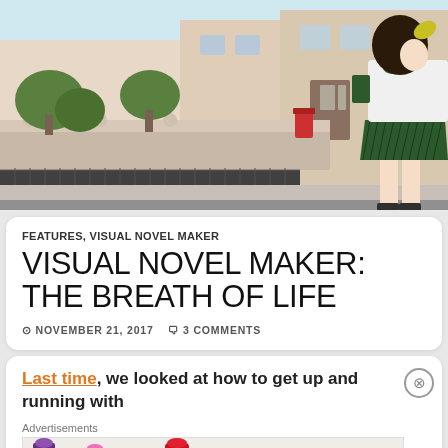[Figure (illustration): Anime-style scene: city street with buildings, fence, gate, mailbox, trees, and anime schoolgirl character in green pleated skirt and white shirt with green bow, viewed from behind/side]
FEATURES, VISUAL NOVEL MAKER
VISUAL NOVEL MAKER: THE BREATH OF LIFE
NOVEMBER 21, 2017  3 COMMENTS
Last time, we looked at how to get up and running with
[Figure (photo): MAC cosmetics advertisement banner showing lipsticks (purple, pink, salmon tones, red) with MAC logo and SHOP NOW button]